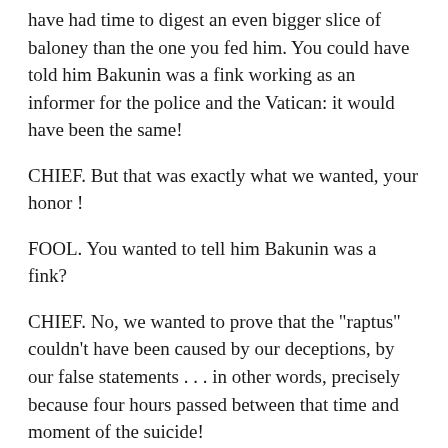have had time to digest an even bigger slice of baloney than the one you fed him. You could have told him Bakunin was a fink working as an informer for the police and the Vatican: it would have been the same!
CHIEF. But that was exactly what we wanted, your honor !
FOOL. You wanted to tell him Bakunin was a fink?
CHIEF. No, we wanted to prove that the "raptus" couldn't have been caused by our deceptions, by our false statements . . . in other words, precisely because four hours passed between that time and moment of the suicide!
FOOL. Why yes, of course, you're right. What a first rate idea . . . you really are sharp!